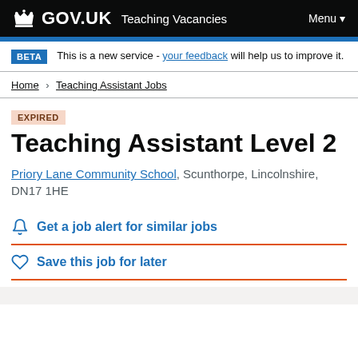GOV.UK Teaching Vacancies Menu
BETA This is a new service - your feedback will help us to improve it.
Home > Teaching Assistant Jobs
EXPIRED
Teaching Assistant Level 2
Priory Lane Community School, Scunthorpe, Lincolnshire, DN17 1HE
Get a job alert for similar jobs
Save this job for later